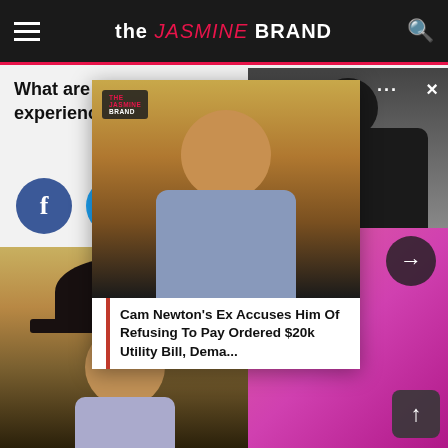the JASMINE BRAND
What are your thoughts on Meagan Good's experience? Comment and let us know.
[Figure (screenshot): Facebook share button (blue circle with 'f' icon)]
[Figure (screenshot): Twitter share button (blue circle with bird icon)]
[Figure (photo): Photo of man with glasses and hat smiling]
[Figure (photo): Popup card overlay showing man with glasses, with brand badge, and headline: Cam Newton's Ex Accuses Him Of Refusing To Pay Ordered $20k Utility Bill, Dema...]
[Figure (photo): Right side photo of woman in black top and pink clothing]
Cam Newton's Ex Accuses Him Of Refusing To Pay Ordered $20k Utility Bill, Dema...